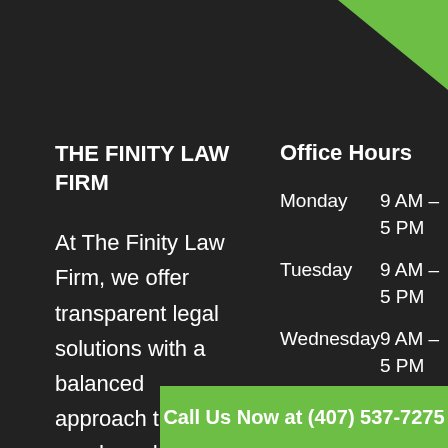[Figure (illustration): Green triangle decoration in top right corner]
THE FINITY LAW FIRM
At The Finity Law Firm, we offer transparent legal solutions with a balanced approach to your needs and your wall...
Office Hours
| Day | Hours |
| --- | --- |
| Monday | 9 AM – 5 PM |
| Tuesday | 9 AM – 5 PM |
| Wednesday | 9 AM – 5 PM |
| Thursday | 9 AM – ... |
Call Us Now at (407) 537-7275